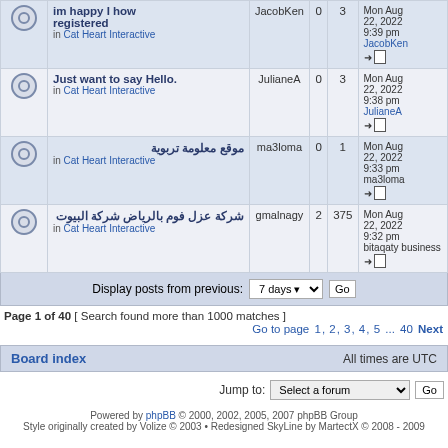|  | Topic | Author | Replies | Views | Last post |
| --- | --- | --- | --- | --- | --- |
| [icon] | im happy I how registered
in Cat Heart Interactive | JacobKen | 0 | 3 | Mon Aug 22, 2022 9:39 pm JacobKen |
| [icon] | Just want to say Hello.
in Cat Heart Interactive | JulianeA | 0 | 3 | Mon Aug 22, 2022 9:38 pm JulianeA |
| [icon] | موقع معلومة تربوية
in Cat Heart Interactive | ma3loma | 0 | 1 | Mon Aug 22, 2022 9:33 pm ma3loma |
| [icon] | شركة عزل فوم بالرياض شركة البيوت
in Cat Heart Interactive | gmalnagy | 2 | 375 | Mon Aug 22, 2022 9:32 pm bitaqaty business |
Display posts from previous: 7 days  Go
Page 1 of 40 [ Search found more than 1000 matches ]
Go to page 1, 2, 3, 4, 5 ... 40 Next
Board index   All times are UTC
Jump to: Select a forum  Go
Powered by phpBB © 2000, 2002, 2005, 2007 phpBB Group
Style originally created by Volize © 2003 • Redesigned SkyLine by MartectX © 2008 - 2009